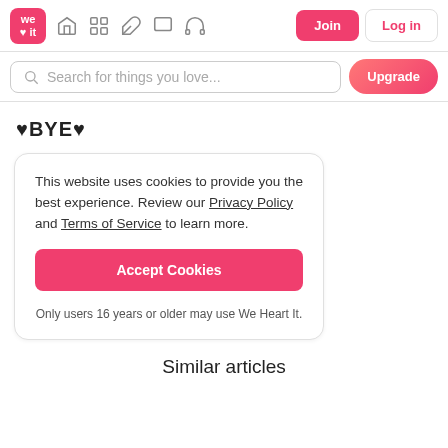We Heart It — Join | Log in | Search for things you love... | Upgrade
♥BYE♥
This website uses cookies to provide you the best experience. Review our Privacy Policy and Terms of Service to learn more.

Accept Cookies

Only users 16 years or older may use We Heart It.
Similar articles